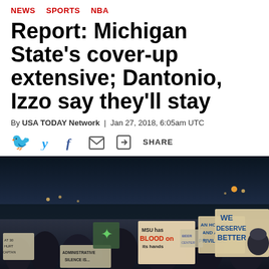NEWS  SPORTS  NBA
Report: Michigan State's cover-up extensive; Dantonio, Izzo say they'll stay
By USA TODAY Network | Jan 27, 2018, 6:05am UTC
[Figure (other): Social sharing icons: Twitter bird, Facebook f, email envelope, share arrow icon with SHARE label]
[Figure (photo): Night-time protest photo showing crowds of people holding signs reading 'MSU has BLOOD on its hands', 'AN HONOR AND A PRIVILEGE', 'WE DESERVE BETTER', 'ADMINISTRATIVE SILENCE IS...', with dark sky and building lights in background]